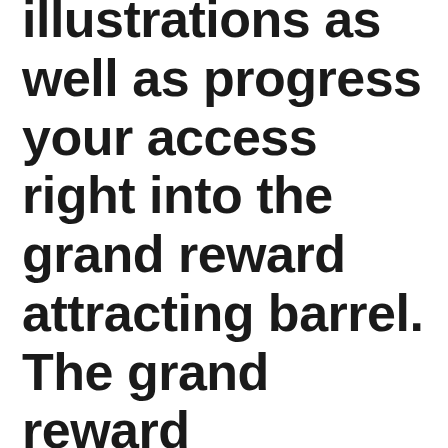illustrations as well as progress your access right into the grand reward attracting barrel. The grand reward illustration will certainly be hung on November 19,